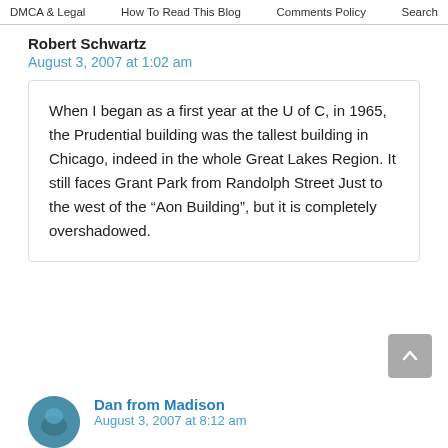DMCA & Legal    How To Read This Blog    Comments Policy    Search
Robert Schwartz
August 3, 2007 at 1:02 am
When I began as a first year at the U of C, in 1965, the Prudential building was the tallest building in Chicago, indeed in the whole Great Lakes Region. It still faces Grant Park from Randolph Street Just to the west of the “Aon Building”, but it is completely overshadowed.
Dan from Madison
August 3, 2007 at 8:12 am